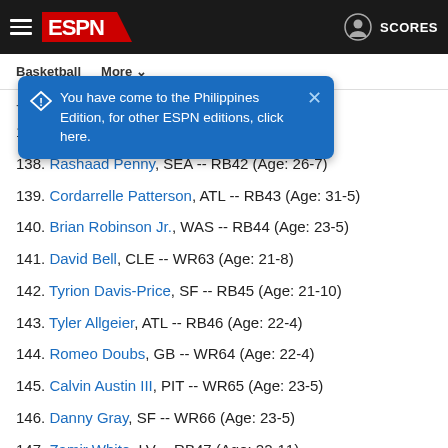ESPN navigation bar with hamburger menu, ESPN logo, SCORES button
You have come to the Philippines Edition, for other ESPN editions, click here.
137. Rachaad White, TB -- RB41 (Age: 23-7)
138. Rashaad Penny, SEA -- RB42 (Age: 26-7)
139. Cordarrelle Patterson, ATL -- RB43 (Age: 31-5)
140. Brian Robinson Jr., WAS -- RB44 (Age: 23-5)
141. David Bell, CLE -- WR63 (Age: 21-8)
142. Tyrion Davis-Price, SF -- RB45 (Age: 21-10)
143. Tyler Allgeier, ATL -- RB46 (Age: 22-4)
144. Romeo Doubs, GB -- WR64 (Age: 22-4)
145. Calvin Austin III, PIT -- WR65 (Age: 23-5)
146. Danny Gray, SF -- WR66 (Age: 23-5)
147. Zamir White, LV -- RB47 (Age: 22-11)
148. Mecole Hardman, KC -- WR67 (Age: 25-5)
149. Mac Jones, NE -- QB18 (Age: 24-0)
150. Allen Lazard, GB -- WR68 (Age: 26-8)